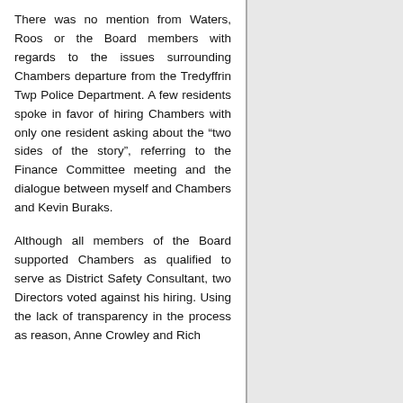There was no mention from Waters, Roos or the Board members with regards to the issues surrounding Chambers departure from the Tredyffrin Twp Police Department. A few residents spoke in favor of hiring Chambers with only one resident asking about the "two sides of the story", referring to the Finance Committee meeting and the dialogue between myself and Chambers and Kevin Buraks.
Although all members of the Board supported Chambers as qualified to serve as District Safety Consultant, two Directors voted against his hiring. Using the lack of transparency in the process as reason, Anne Crowley and Rich